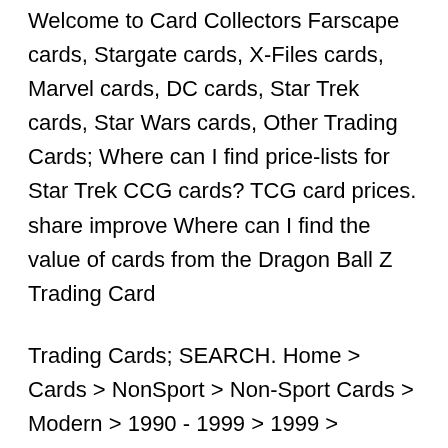Welcome to Card Collectors Farscape cards, Stargate cards, X-Files cards, Marvel cards, DC cards, Star Trek cards, Star Wars cards, Other Trading Cards; Where can I find price-lists for Star Trek CCG cards? TCG card prices. share improve Where can I find the value of cards from the Dragon Ball Z Trading Card
Trading Cards; SEARCH. Home > Cards > NonSport > Non-Sport Cards > Modern > 1990 - 1999 > 1999 > DECIPHER > DECIPHER STAR TREK. 1-16 of 16 results. Price вЂ¦ Sell your unwanted Pokemon cards to CCG Castle! For all Pokemon players and collectors out there, we have great news. Now you can also SELL your un-used Pokemon cards
Rittenhouse Archives presents STAR TREK Movies Trading Cards, based on the reboot feature films "Star Trek" and "Star Trek Into Darkness"released in 2009 & 2013. Rittenhouse